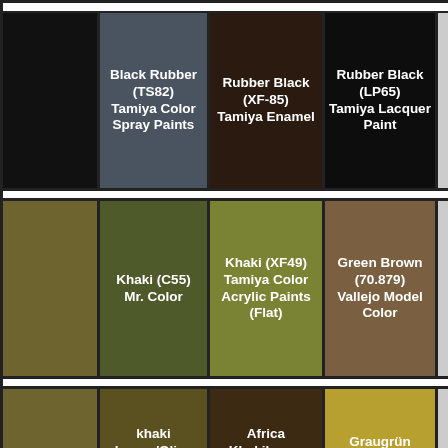|  | Black Rubber (TS82) Tamiya Color Spray Paints | Rubber Black (XF-85) Tamiya Enamel | Rubber Black (LP65) Tamiya Lacquer Paint |  |
| --- | --- | --- | --- | --- |
|  | Khaki (C55) Mr. Color | Khaki (XF49) Tamiya Color Acrylic Paints (Flat) | Green Brown (70.879) Vallejo Model Color |  |
| Khaki (H81) Aqueous Hobby Color | khaki brown/Olive Brown (solid matt) (32186) Revell Email Enamel | Africa Khakibraun RAL 7008 '41 (F) (2098) Testors Model Master | Graugrün Khakibraun RAL 7008 (UA212) Lifecolor |  |